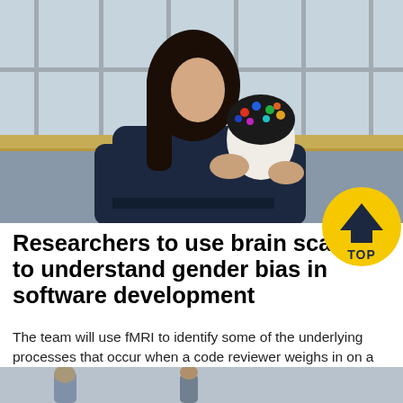[Figure (photo): A person holding an EEG cap/mannequin head with colorful electrodes attached, standing in what appears to be a modern building atrium with glass windows and a wooden railing in the background.]
Researchers to use brain scans to understand gender bias in software development
The team will use fMRI to identify some of the underlying processes that occur when a code reviewer weighs in on a piece of software and its author.
[Figure (photo): Partial view of another photograph at the bottom of the page, showing people in a setting.]